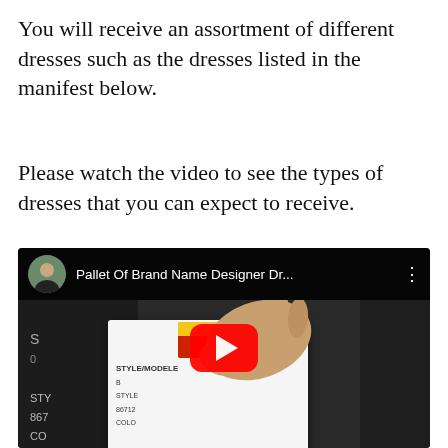You will receive an assortment of different dresses such as the dresses listed in the manifest below.
Please watch the video to see the types of dresses that you can expect to receive.
[Figure (screenshot): YouTube video thumbnail showing a person holding a clothing tag with barcode and sticker. Video title reads 'Pallet Of Brand Name Designer Dr...' with a red YouTube play button overlay.]